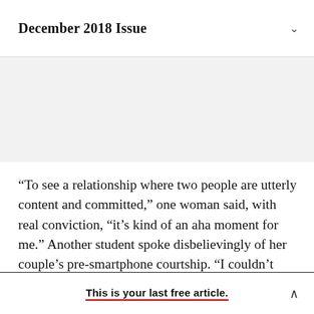December 2018 Issue
“To see a relationship where two people are utterly content and committed,” one woman said, with real conviction, “it’s kind of an aha moment for me.” Another student spoke disbelievingly of her couple’s pre-smartphone courtship. “I couldn’t
This is your last free article.